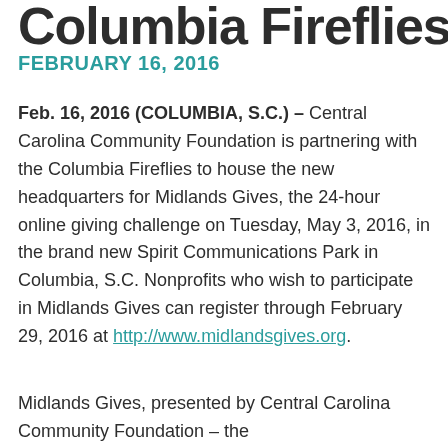Columbia Fireflies
FEBRUARY 16, 2016
Feb. 16, 2016 (COLUMBIA, S.C.) – Central Carolina Community Foundation is partnering with the Columbia Fireflies to house the new headquarters for Midlands Gives, the 24-hour online giving challenge on Tuesday, May 3, 2016, in the brand new Spirit Communications Park in Columbia, S.C. Nonprofits who wish to participate in Midlands Gives can register through February 29, 2016 at http://www.midlandsgives.org.
Midlands Gives, presented by Central Carolina Community Foundation – the